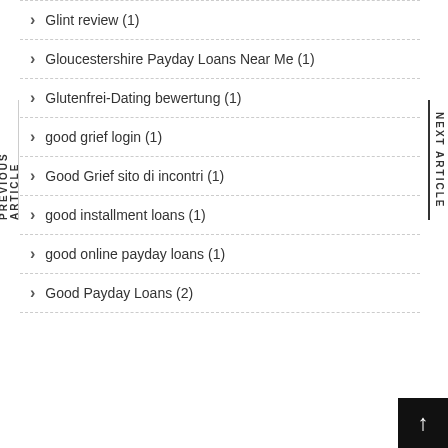Glint review (1)
Gloucestershire Payday Loans Near Me (1)
Glutenfrei-Dating bewertung (1)
good grief login (1)
Good Grief sito di incontri (1)
good installment loans (1)
good online payday loans (1)
Good Payday Loans (2)